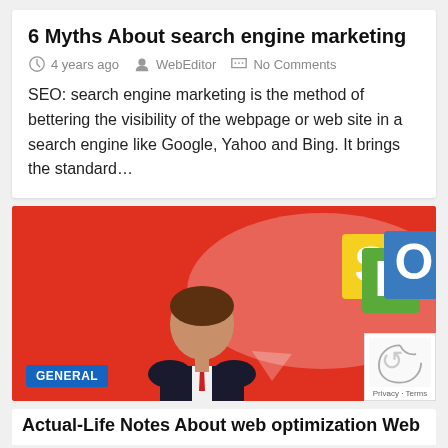6 Myths About search engine marketing
4 years ago   WebEditor   No Comments
SEO: search engine marketing is the method of bettering the visibility of the webpage or web site in a search engine like Google, Yahoo and Bing. It brings the standard...
[Figure (illustration): SEO themed illustration with red background showing a person in a suit with a speech bubble containing colorful SEO text blocks (yellow S, green E, blue O). A GENERAL badge is shown at bottom left. A purple scroll-to-top button and reCAPTCHA widget appear at bottom right.]
Actual-Life Notes About web optimization Web